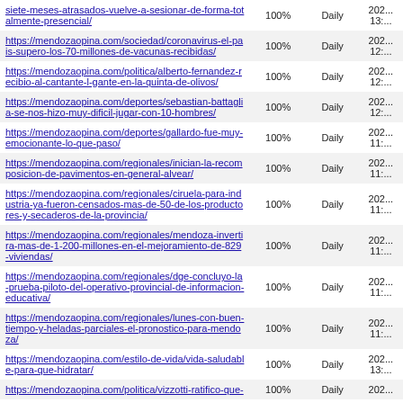| URL | Coverage | Frequency | Last Modified |
| --- | --- | --- | --- |
| https://mendozaopina.com/sociedad/siete-meses-atrasados-vuelve-a-sesionar-de-forma-totalmente-presencial/ | 100% | Daily | 202... 13:... |
| https://mendozaopina.com/sociedad/coronavirus-el-pais-supero-los-70-millones-de-vacunas-recibidas/ | 100% | Daily | 202... 12:... |
| https://mendozaopina.com/politica/alberto-fernandez-recibio-al-cantante-l-gante-en-la-quinta-de-olivos/ | 100% | Daily | 202... 12:... |
| https://mendozaopina.com/deportes/sebastian-battaglia-se-nos-hizo-muy-dificil-jugar-con-10-hombres/ | 100% | Daily | 202... 12:... |
| https://mendozaopina.com/deportes/gallardo-fue-muy-emocionante-lo-que-paso/ | 100% | Daily | 202... 11:... |
| https://mendozaopina.com/regionales/inician-la-recomposicion-de-pavimentos-en-general-alvear/ | 100% | Daily | 202... 11:... |
| https://mendozaopina.com/regionales/ciruela-para-industria-ya-fueron-censados-mas-de-50-de-los-productores-y-secaderos-de-la-provincia/ | 100% | Daily | 202... 11:... |
| https://mendozaopina.com/regionales/mendoza-invertira-mas-de-1-200-millones-en-el-mejoramiento-de-829-viviendas/ | 100% | Daily | 202... 11:... |
| https://mendozaopina.com/regionales/dge-concluyo-la-prueba-piloto-del-operativo-provincial-de-informacion-educativa/ | 100% | Daily | 202... 11:... |
| https://mendozaopina.com/regionales/lunes-con-buen-tiempo-y-heladas-parciales-el-pronostico-para-mendoza/ | 100% | Daily | 202... 11:... |
| https://mendozaopina.com/estilo-de-vida/vida-saludable-para-que-hidratar/ | 100% | Daily | 202... 13:... |
| https://mendozaopina.com/politica/vizzotti-ratifico-que- | 100% | Daily | 202... |